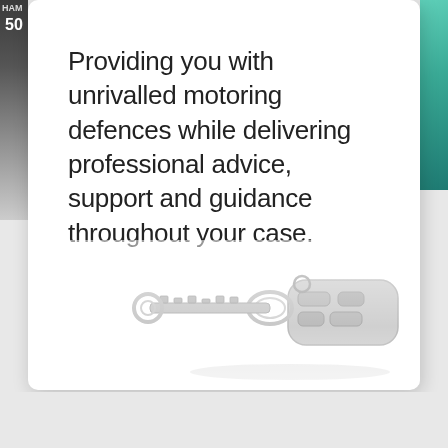Providing you with unrivalled motoring defences while delivering professional advice, support and guidance throughout your case.
[Figure (photo): A car key fob with keys on a keyring, shown in a faded light grey tone against a white background, positioned at the bottom right of a white card]